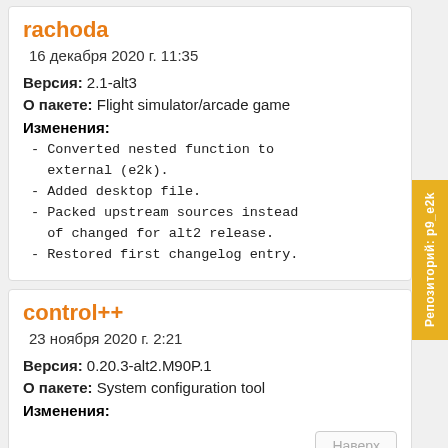rachoda
16 декабря 2020 г. 11:35
Версия: 2.1-alt3
О пакете: Flight simulator/arcade game
Изменения:
- Converted nested function to external (e2k).
- Added desktop file.
- Packed upstream sources instead of changed for alt2 release.
- Restored first changelog entry.
control++
23 ноября 2020 г. 2:21
Версия: 0.20.3-alt2.M90P.1
О пакете: System configuration tool
Изменения:
Репозиторий: p9_e2k